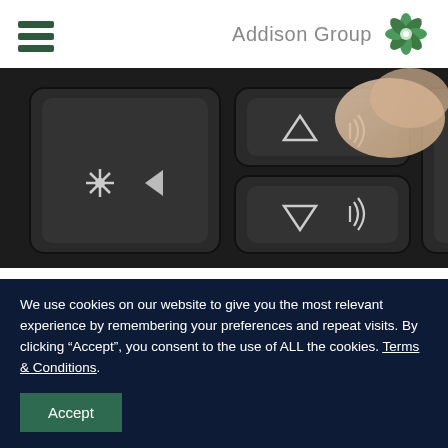[Figure (logo): Addison Group logo with green snowflake/gear icon and gray text]
[Figure (photo): Close-up photo of dark keyboard keys with media control symbols]
Oftentimes, the most overlooked aspect of the interviewing process is the post-
We use cookies on our website to give you the most relevant experience by remembering your preferences and repeat visits. By clicking “Accept”, you consent to the use of ALL the cookies. Terms & Conditions.